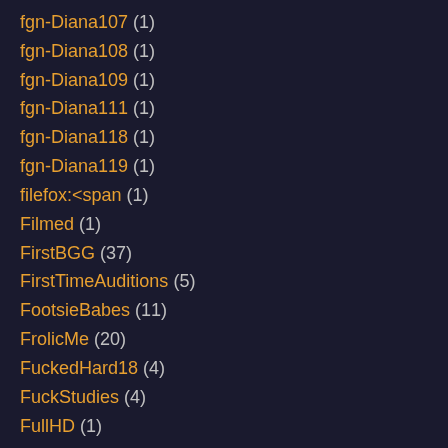fgn-Diana107 (1)
fgn-Diana108 (1)
fgn-Diana109 (1)
fgn-Diana111 (1)
fgn-Diana118 (1)
fgn-Diana119 (1)
filefox:<span (1)
Filmed (1)
FirstBGG (37)
FirstTimeAuditions (5)
FootsieBabes (11)
FrolicMe (20)
FuckedHard18 (4)
FuckStudies (4)
FullHD (1)